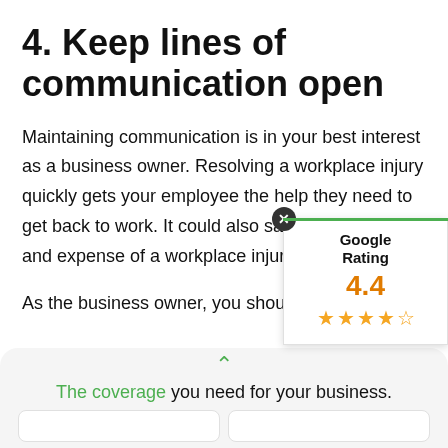4. Keep lines of communication open
Maintaining communication is in your best interest as a business owner. Resolving a workplace injury quickly gets your employee the help they need to get back to work. It could also save you the hassle and expense of a workplace injury lawsuit.
As the business owner, you should assist the parties involved with the injury, recovery process and claim in any way you can. This includes the injured
[Figure (infographic): Google Rating popup showing 4.4 stars with orange star icons and a close button]
The coverage you need for your business.